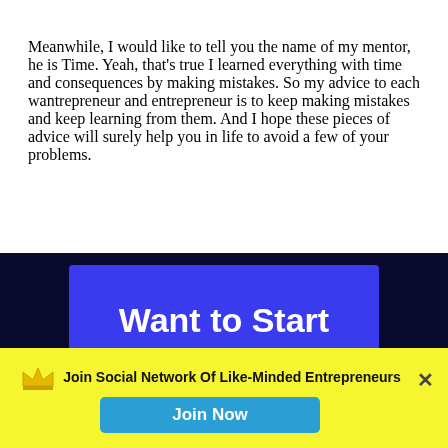Meanwhile, I would like to tell you the name of my mentor, he is Time. Yeah, that's true I learned everything with time and consequences by making mistakes. So my advice to each wantrepreneur and entrepreneur is to keep making mistakes and keep learning from them. And I hope these pieces of advice will surely help you in life to avoid a few of your problems.
[Figure (infographic): Dark navy background banner with a blue rectangle containing large white bold text 'Want to Start', followed by a yellow footer bar with a crown logo, bold text 'Join Social Network Of Like-Minded Entrepreneurs', a blue 'Join Now' button, and a close X icon.]